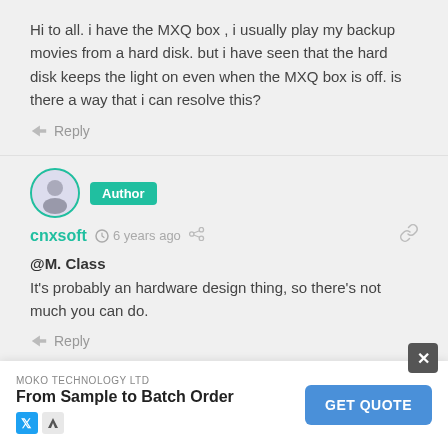Hi to all. i have the MXQ box , i usually play my backup movies from a hard disk. but i have seen that the hard disk keeps the light on even when the MXQ box is off. is there a way that i can resolve this?
Reply
[Figure (photo): User avatar with teal border circle and Author badge]
cnxsoft  6 years ago
@M. Class
It's probably an hardware design thing, so there's not much you can do.
Reply
[Figure (photo): Generic gray user avatar circle]
M. C...
But th... it
[Figure (screenshot): Advertisement overlay: MOKO TECHNOLOGY LTD - From Sample to Batch Order - GET QUOTE button with close X]